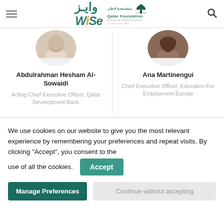WISE | Qatar Foundation
[Figure (photo): Circular profile photo of Abdulrahman Hesham Al-Sowaidi (partially visible, cropped at top)]
Abdulrahman Hesham Al-Sowaidi
Acting Chief Executive Officer, Qatar Development Bank
[Figure (photo): Circular profile photo of Ana Martinengui (partially visible, cropped at top)]
Ana Martinengui
Chief Executive Officer, Education For Employment-Europe
We use cookies on our website to give you the most relevant experience by remembering your preferences and repeat visits. By clicking “Accept”, you consent to the use of all the cookies.